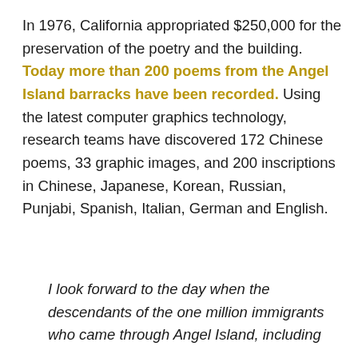In 1976, California appropriated $250,000 for the preservation of the poetry and the building. Today more than 200 poems from the Angel Island barracks have been recorded. Using the latest computer graphics technology, research teams have discovered 172 Chinese poems, 33 graphic images, and 200 inscriptions in Chinese, Japanese, Korean, Russian, Punjabi, Spanish, Italian, German and English.
I look forward to the day when the descendants of the one million immigrants who came through Angel Island, including